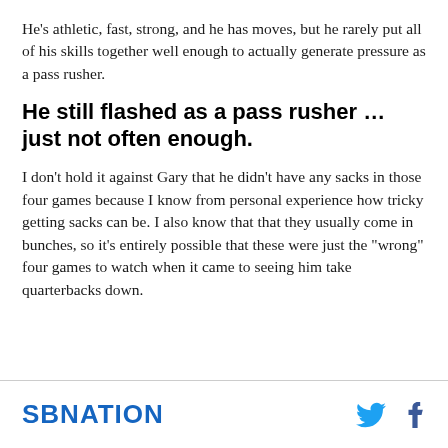He’s athletic, fast, strong, and he has moves, but he rarely put all of his skills together well enough to actually generate pressure as a pass rusher.
He still flashed as a pass rusher … just not often enough.
I don’t hold it against Gary that he didn’t have any sacks in those four games because I know from personal experience how tricky getting sacks can be. I also know that that they usually come in bunches, so it’s entirely possible that these were just the “wrong” four games to watch when it came to seeing him take quarterbacks down.
SBNATION